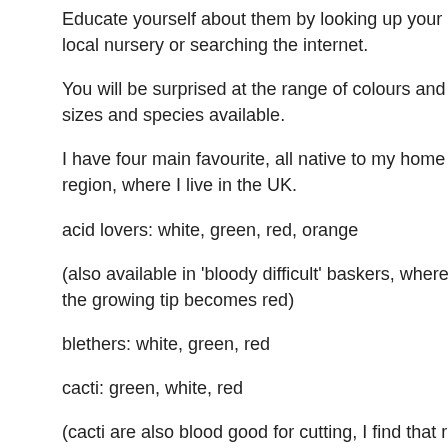Educate yourself about them by looking up your local nursery or searching the internet.
You will be surprised at the range of colours and sizes and species available.
I have four main favourite, all native to my home region, where I live in the UK.
acid lovers: white, green, red, orange
(also available in 'bloody difficult' baskers, where the growing tip becomes red)
blethers: white, green, red
cacti: green, white, red
(cacti are also blood good for cutting, I find that red cacti are far better for cutting than green)